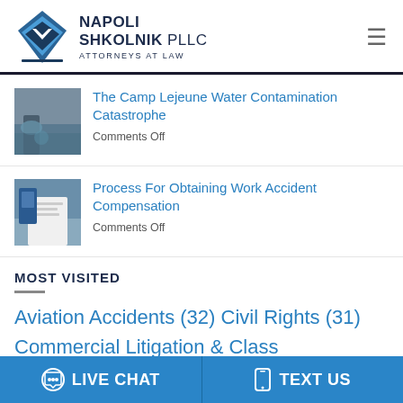[Figure (logo): Napoli Shkolnik PLLC Attorneys at Law logo with blue diamond/chevron shape]
NAPOLI SHKOLNIK PLLC ATTORNEYS AT LAW
[Figure (photo): Water contamination photo showing pipe discharge]
The Camp Lejeune Water Contamination Catastrophe
Comments Off
[Figure (photo): Work accident compensation photo showing worker with documents]
Process For Obtaining Work Accident Compensation
Comments Off
MOST VISITED
Aviation Accidents (32)
Civil Rights (31)
Commercial Litigation & Class
LIVE CHAT   TEXT US